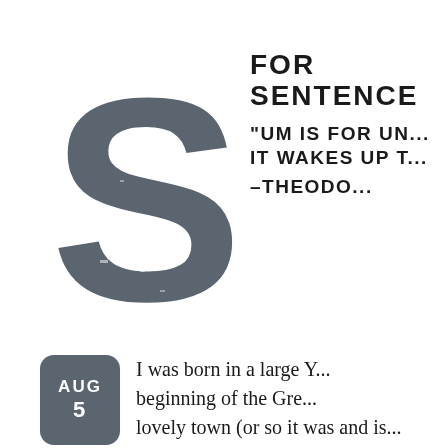[Figure (illustration): Large decorative letter S in distressed dark gray style]
FOR SENTENCE
"UM IS FOR UN... IT WAKES UP T... –THEODO...
[Figure (other): Dark gray rounded rectangle badge showing AUG 5]
I was born in a large Y... beginning of the Gre... lovely town (or so it was and is... sprawling by a long and splen...